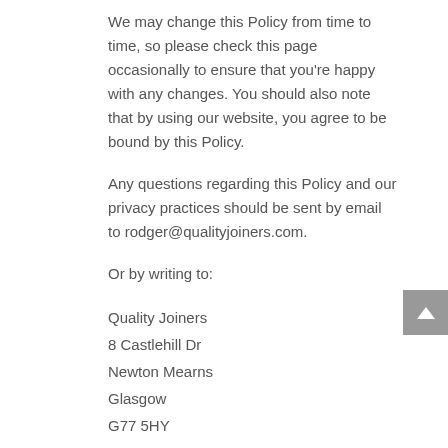We may change this Policy from time to time, so please check this page occasionally to ensure that you're happy with any changes. You should also note that by using our website, you agree to be bound by this Policy.
Any questions regarding this Policy and our privacy practices should be sent by email to rodger@qualityjoiners.com.
Or by writing to:
Quality Joiners
8 Castlehill Dr
Newton Mearns
Glasgow
G77 5HY
Alternatively, you can telephone 0141 639 0089.
How do we collect information from you?
We obtain information about you when you use our